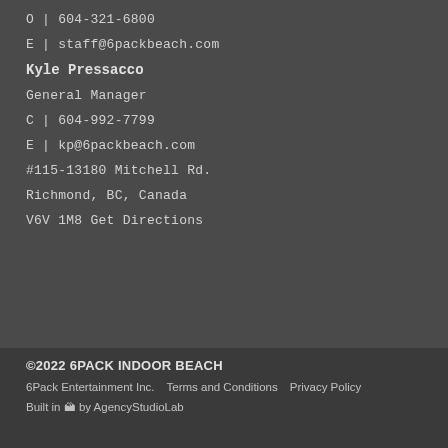O | 604-321-6800
E | staff@6packbeach.com
Kyle Pressacco
General Manager
C | 604-992-7799
E | kp@6packbeach.com
#115-13180 Mitchell Rd.
Richmond, BC, Canada
V6V 1M8 Get Directions
©2022 6PACK INDOOR BEACH
6Pack Entertainment Inc.   Terms and Conditions   Privacy Policy
Built in 🏔 by AgencyStudioLab